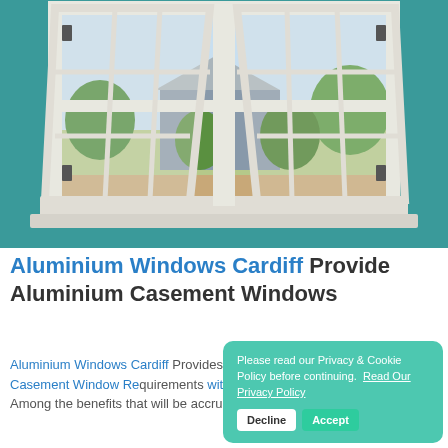[Figure (photo): Open white casement window with teal/turquoise wall, looking out onto a garden with shrubs and a house in the background under blue sky.]
Aluminium Windows Cardiff Provide Aluminium Casement Windows
Aluminium Windows Cardiff Provides Each Llanishen with Aluminium Casement Window Requirements with dedication. Among the benefits that will be accrued from using our...
Please read our Privacy & Cookie Policy before continuing. Read Our Privacy Policy